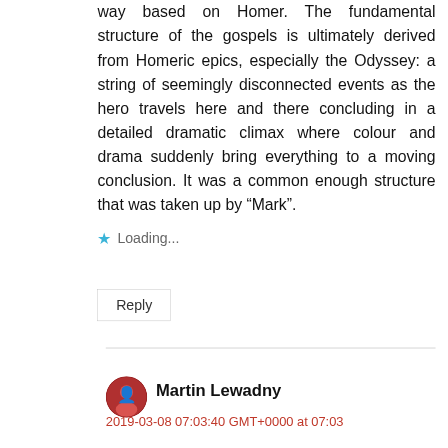way based on Homer. The fundamental structure of the gospels is ultimately derived from Homeric epics, especially the Odyssey: a string of seemingly disconnected events as the hero travels here and there concluding in a detailed dramatic climax where colour and drama suddenly bring everything to a moving conclusion. It was a common enough structure that was taken up by “Mark”.
Loading...
Reply
Martin Lewadny
2019-03-08 07:03:40 GMT+0000 at 07:03